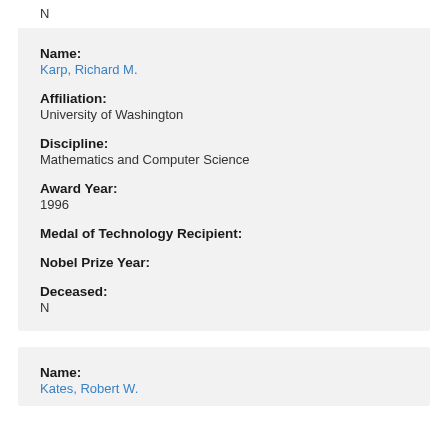N
Name:
Karp, Richard M.
Affiliation:
University of Washington
Discipline:
Mathematics and Computer Science
Award Year:
1996
Medal of Technology Recipient:
Nobel Prize Year:
Deceased:
N
Name:
Kates, Robert W.